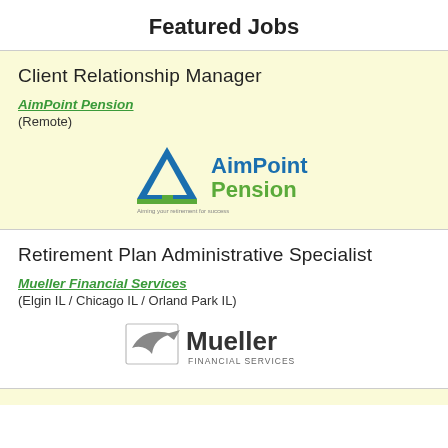Featured Jobs
Client Relationship Manager
AimPoint Pension
(Remote)
[Figure (logo): AimPoint Pension logo with blue triangle and green bar, tagline 'Aiming your retirement for success']
Retirement Plan Administrative Specialist
Mueller Financial Services
(Elgin IL / Chicago IL / Orland Park IL)
[Figure (logo): Mueller Financial Services logo with bird/fish icon]